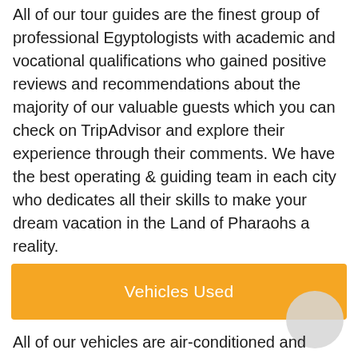All of our tour guides are the finest group of professional Egyptologists with academic and vocational qualifications who gained positive reviews and recommendations about the majority of our valuable guests which you can check on TripAdvisor and explore their experience through their comments. We have the best operating & guiding team in each city who dedicates all their skills to make your dream vacation in the Land of Pharaohs a reality.
Vehicles Used
All of our vehicles are air-conditioned and